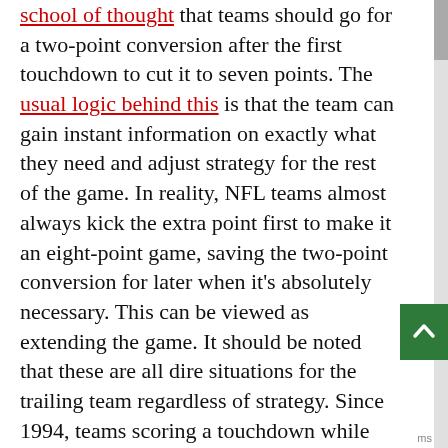Down 16 points in the fourth quarter, there is a school of thought that teams should go for a two-point conversion after the first touchdown to cut it to seven points. The usual logic behind this is that the team can gain instant information on exactly what they need and adjust strategy for the rest of the game. In reality, NFL teams almost always kick the extra point first to make it an eight-point game, saving the two-point conversion for later when it's absolutely necessary. This can be viewed as extending the game. It should be noted that these are all dire situations for the trailing team regardless of strategy. Since 1994, teams scoring a touchdown while down exactly 15 points at any point in the fourth quarter are 6-111 (.051) for the game. All six winners kicked the extra point first. Only 11 teams went for two early, and their conversion rate was a poor 3-for-11. It's also worth pointing out that the 2007 Jets converted against Cincinnati with a national, after they had down the...
[Figure (other): Green scroll-to-top button with upward arrow chevron]